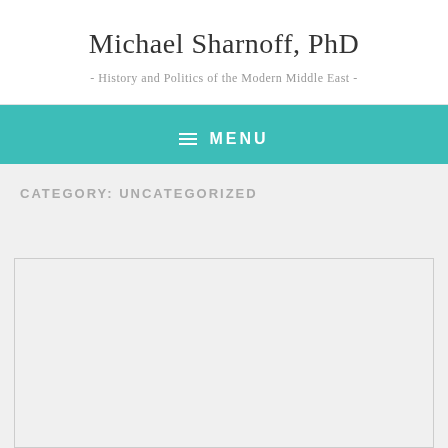Michael Sharnoff, PhD
- History and Politics of the Modern Middle East -
≡  MENU
CATEGORY: UNCATEGORIZED
[Figure (photo): Book cover under the auspices of the World Jewish Congress, showing the Israel Council on Foreign Relations logo — a Star of David overlaid on a globe — on a dark navy blue background, with decorative globe imagery on the left side and text 'SOLUTIONS' vertically on the lower left.]